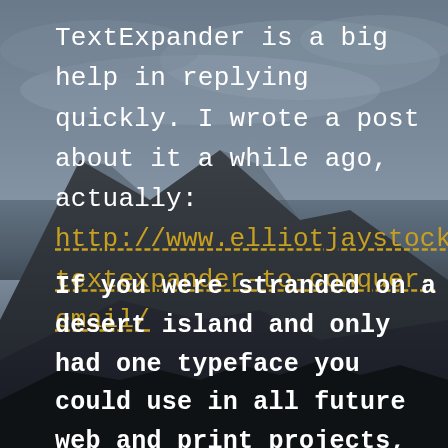[Figure (photo): Dark moody landscape photo showing a coastline with mountains, cloudy sky, and a body of water. The scene is dramatic with dark tones of grey, blue, and black.]
TextExpander is a big help in replying quickly. I wrote a post about it a while ago, actually: http://www.elliotjaystocks.com/b textexpander-to-conquer-email/
If you were stranded on a desert island and only had one typeface you could use in all future web and print projects, what would it be?